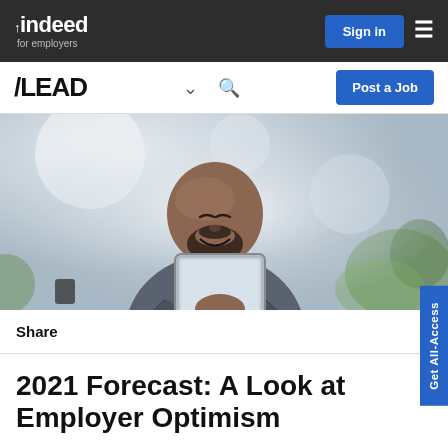[Figure (screenshot): Indeed for employers navigation bar with logo, Sign in button, and hamburger menu on dark background]
[Figure (screenshot): Secondary navigation bar with /LEAD logo, chevron, search icon, and Post a Job button]
[Figure (photo): Smiling bald man with beard wearing a blue shirt and grey blazer, looking at a tablet in an office/cafe setting]
Share
2021 Forecast: A Look at Employer Optimism